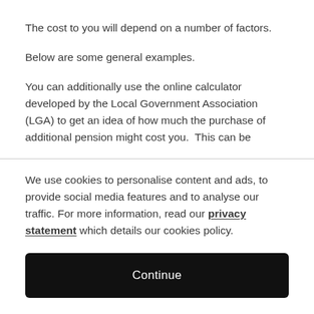The cost to you will depend on a number of factors.
Below are some general examples.
You can additionally use the online calculator developed by the Local Government Association (LGA) to get an idea of how much the purchase of additional pension might cost you.  This can be
We use cookies to personalise content and ads, to provide social media features and to analyse our traffic. For more information, read our privacy statement which details our cookies policy.
Continue